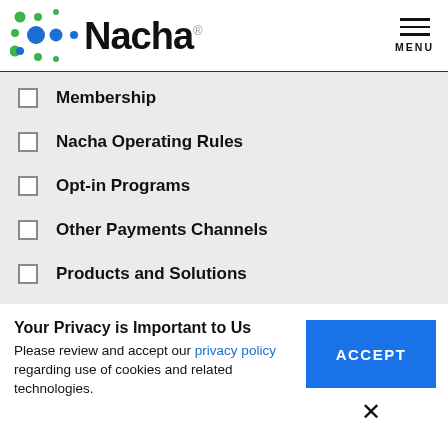[Figure (logo): Nacha logo with colored dot pattern and Nacha wordmark]
Membership
Nacha Operating Rules
Opt-in Programs
Other Payments Channels
Products and Solutions
Your Privacy is Important to Us
Please review and accept our privacy policy regarding use of cookies and related technologies.